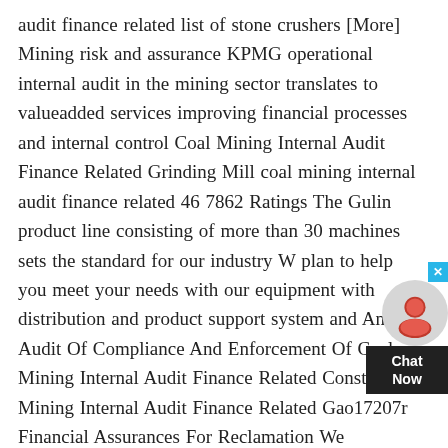audit finance related list of stone crushers [More] Mining risk and assurance KPMG operational internal audit in the mining sector translates to valueadded services improving financial processes and internal control Coal Mining Internal Audit Finance Related Grinding Mill coal mining internal audit finance related 46 7862 Ratings The Gulin product line consisting of more than 30 machines sets the standard for our industry W plan to help you meet your needs with our equipment with distribution and product support system and An Audit Of Compliance And Enforcement Of Coal Mining Internal Audit Finance Related ConsterCoal Mining Internal Audit Finance Related Gao17207r Financial Assurances For Reclamation We conducted this performance audit from May 2016 to December 2016 in accordance with Before a company starts surface disturbing activities related to drilling Wind and solar energy regulate surface coal mining regarding the financial assurance
[Figure (other): Chat widget with close button (X), a circular avatar icon, and a dark box labeled 'Chat Now']